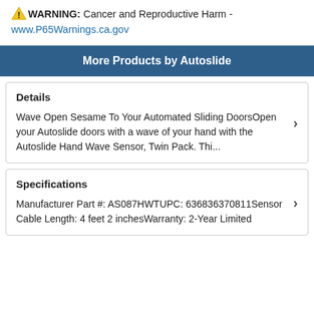⚠ WARNING: Cancer and Reproductive Harm - www.P65Warnings.ca.gov
More Products by Autoslide
Details
Wave Open Sesame To Your Automated Sliding DoorsOpen your Autoslide doors with a wave of your hand with the Autoslide Hand Wave Sensor, Twin Pack. Thi...
Specifications
Manufacturer Part #: AS087HWTUPC: 636836370811Sensor Cable Length: 4 feet 2 inchesWarranty: 2-Year Limited